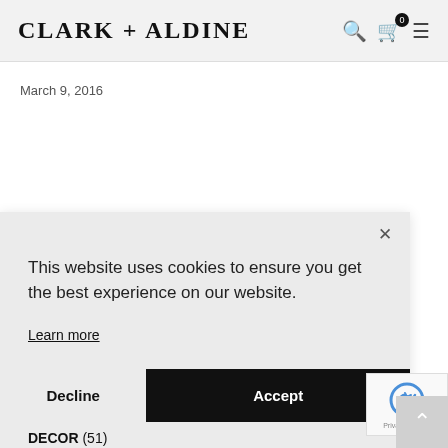CLARK + ALDINE
March 9, 2016
CATEGORIES
[Figure (screenshot): Cookie consent modal dialog with text 'This website uses cookies to ensure you get the best experience on our website.', a 'Learn more' link, and two buttons: 'Decline' and 'Accept']
DECOR (51)